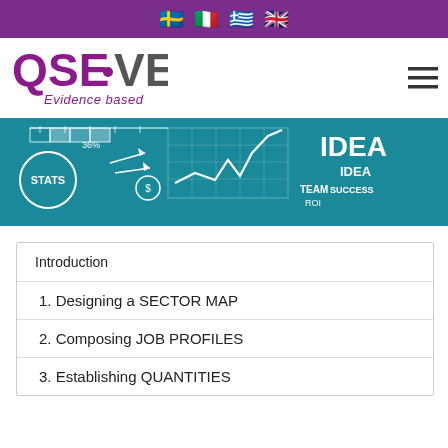[Figure (screenshot): Purple top navigation bar with four country flag icons (Sweden, Italy, Greece, UK)]
[Figure (logo): QSE-VET Evidence based logo in purple and grey]
[Figure (photo): Banner image showing a teal chalkboard with hand-drawn business/statistics diagrams including STATS, line chart, IDEA mind map, TEAM flowchart]
Introduction
1. Designing a SECTOR MAP
2. Composing JOB PROFILES
3. Establishing QUANTITIES